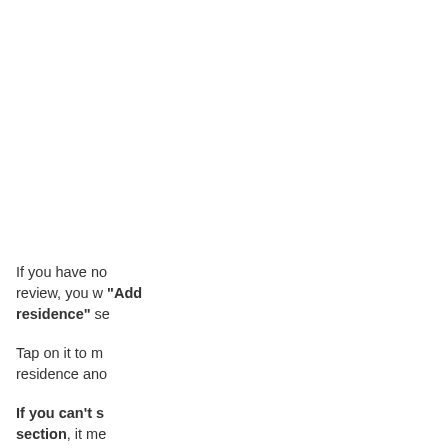If you have no review, you will see a "Add residence" section.
Tap on it to mark your residence and...
If you can't see this section, it me...